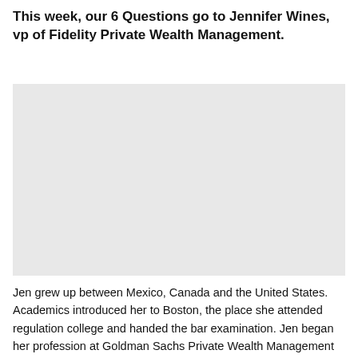This week, our 6 Questions go to Jennifer Wines, vp of Fidelity Private Wealth Management.
[Figure (photo): Portrait photo of Jennifer Wines (image area, appears blank/white in scan)]
Jen grew up between Mexico, Canada and the United States. Academics introduced her to Boston, the place she attended regulation college and handed the bar examination. Jen began her profession at Goldman Sachs Private Wealth Management